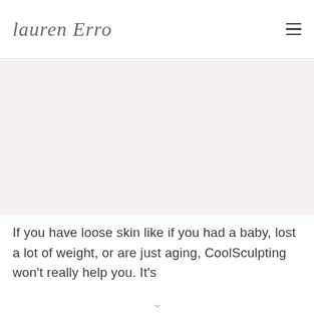lauren Erro
[Figure (photo): Large image area, light pinkish-beige background, appears to be a blog post hero image placeholder]
If you have loose skin like if you had a baby, lost a lot of weight, or are just aging, CoolSculpting won't really help you. It's